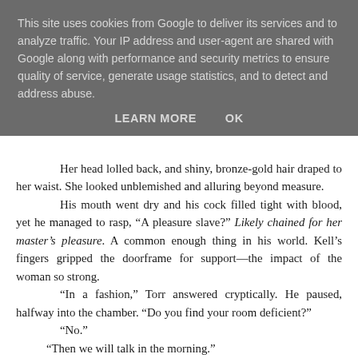This site uses cookies from Google to deliver its services and to analyze traffic. Your IP address and user-agent are shared with Google along with performance and security metrics to ensure quality of service, generate usage statistics, and to detect and address abuse.
LEARN MORE    OK
Her head lolled back, and shiny, bronze-gold hair draped to her waist. She looked unblemished and alluring beyond measure.
His mouth went dry and his cock filled tight with blood, yet he managed to rasp, “A pleasure slave?” Likely chained for her master’s pleasure. A common enough thing in his world. Kell’s fingers gripped the doorframe for support—the impact of the woman so strong.
“In a fashion,” Torr answered cryptically. He paused, halfway into the chamber. “Do you find your room deficient?”
“No.”
“Then we will talk in the morning.”
Neither man moved.
“Your bed awaits next door, Roman.”